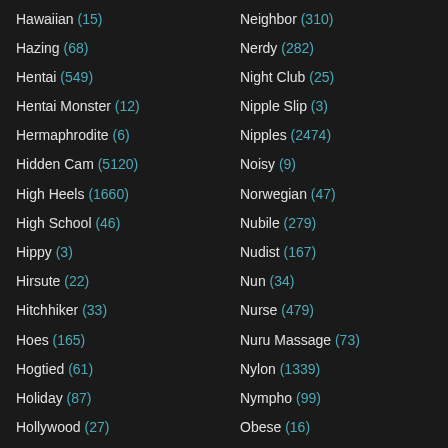Hawaiian (15)
Hazing (68)
Hentai (549)
Hentai Monster (12)
Hermaphrodite (6)
Hidden Cam (5120)
High Heels (1660)
High School (46)
Hippy (3)
Hirsute (22)
Hitchhiker (33)
Hoes (165)
Hogtied (61)
Holiday (87)
Hollywood (27)
Home (657)
Neighbor (310)
Nerdy (282)
Night Club (25)
Nipple Slip (3)
Nipples (2474)
Noisy (9)
Norwegian (47)
Nubile (279)
Nudist (167)
Nun (34)
Nurse (479)
Nuru Massage (73)
Nylon (1339)
Nympho (99)
Obese (16)
Office (726)